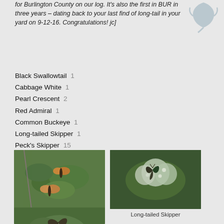for Burlington County on our log. It's also the first in BUR in three years – dating back to your last find of long-tail in your yard on 9-12-16. Congratulations! jc]
Black Swallowtail  1
Cabbage White  1
Pearl Crescent  2
Red Admiral  1
Common Buckeye  1
Long-tailed Skipper  1
Peck's Skipper  15
Sachem  8
[Figure (photo): Photo of two Pearl Crescent butterflies resting on green leaves]
Pearl Crescents
[Figure (photo): Photo of a Long-tailed Skipper butterfly on white flower clusters]
Long-tailed Skipper
[Figure (photo): Photo of a butterfly on green foliage, partially visible at bottom of page]